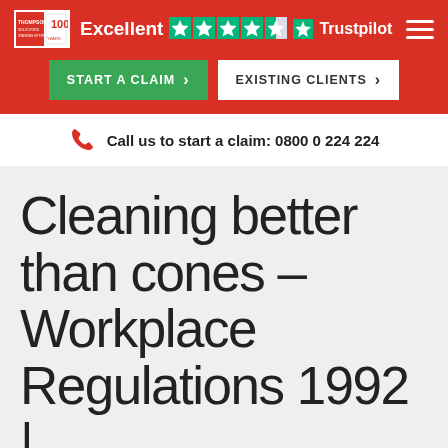Excellent ★★★★☆ Trustpilot
START A CLAIM > | EXISTING CLIENTS >
Call us to start a claim: 0800 0 224 224
Cleaning better than cones – Workplace Regulations 1992 |